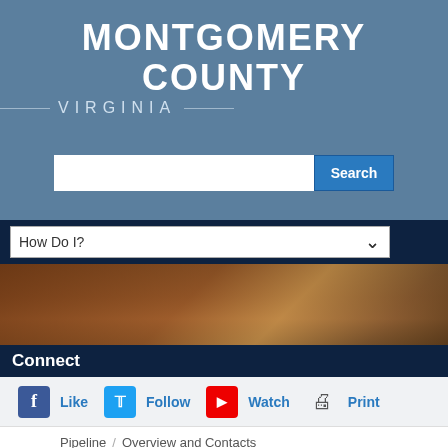MONTGOMERY COUNTY
VIRGINIA
[Figure (screenshot): Search bar with text input field and blue Search button]
[Figure (screenshot): How Do I? dropdown navigation bar on dark navy background]
[Figure (photo): Twilight/dusk aerial photo of buildings and trees in Montgomery County Virginia]
Connect
Like   Follow   Watch   Print
Pipeline  /  Overview and Contacts
[Figure (screenshot): Overview and Contacts dropdown menu]
Overview of the Project